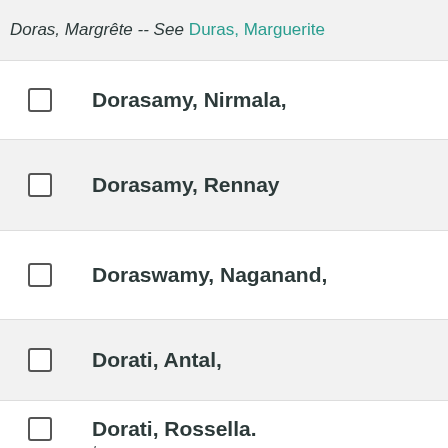Doras, Margrête -- See Duras, Marguerite
Dorasamy, Nirmala,
Dorasamy, Rennay
Doraswamy, Naganand,
Dorati, Antal,
Dorati, Rossella. / http://id.loc.gov/authorities/names/n20101812